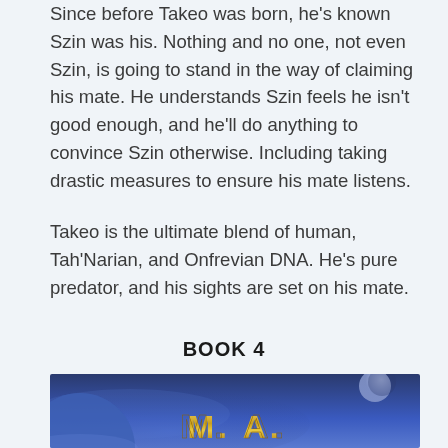Since before Takeo was born, he's known Szin was his. Nothing and no one, not even Szin, is going to stand in the way of claiming his mate. He understands Szin feels he isn't good enough, and he'll do anything to convince Szin otherwise. Including taking drastic measures to ensure his mate listens.
Takeo is the ultimate blend of human, Tah'Narian, and Onfrevian DNA. He's pure predator, and his sights are set on his mate.
BOOK 4
[Figure (illustration): Book cover image with dark blue space/planetary background and gold stylized text reading 'M.A.' at the bottom center]